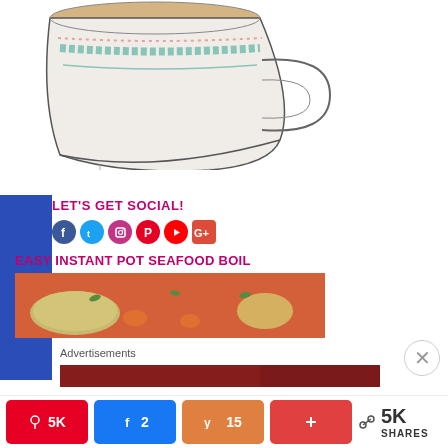[Figure (illustration): Illustration of a decorative teacup with teal and pink trim patterns, filled with light brown liquid, viewed from a slight angle above]
LET'S GET SOCIAL!
[Figure (infographic): Social media icons: Facebook, Twitter, Instagram, Pinterest, YouTube, Google+]
EASY INSTANT POT SEAFOOD BOIL
[Figure (photo): Photo of instant pot seafood boil dish in an orange bowl with shrimp, corn, and vegetables]
Advertisements
[Figure (photo): Advertisement banner image]
Pin 5K  Share 2  Yummly 15  + Share  5K SHARES